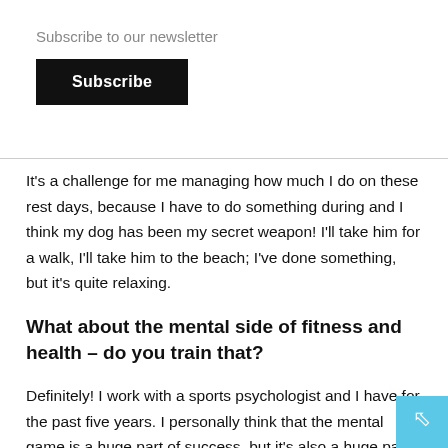Subscribe to our newsletter
Subscribe
It's a challenge for me managing how much I do on these rest days, because I have to do something during and I think my dog has been my secret weapon! I'll take him for a walk, I'll take him to the beach; I've done something, but it's quite relaxing.
What about the mental side of fitness and health – do you train that?
Definitely! I work with a sports psychologist and I have for the past five years. I personally think that the mental game is a huge part of success, but it's also a huge part of just being a healthy, happy person in the long run. I think that dealing with